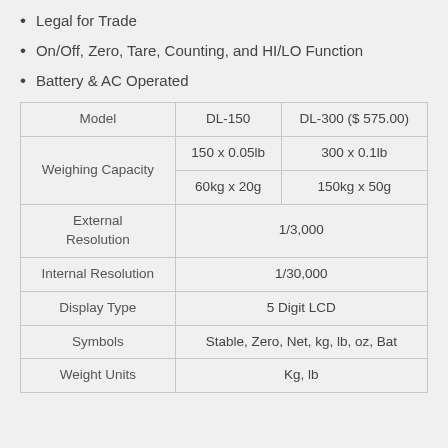Legal for Trade
On/Off, Zero, Tare, Counting, and HI/LO Function
Battery & AC Operated
| Model | DL-150 | DL-300 ($ 575.00) |
| --- | --- | --- |
| Weighing Capacity | 150 x 0.05lb
60kg x 20g | 300 x 0.1lb
150kg x 50g |
| External Resolution | 1/3,000 | 1/3,000 |
| Internal Resolution | 1/30,000 | 1/30,000 |
| Display Type | 5 Digit LCD | 5 Digit LCD |
| Symbols | Stable, Zero, Net, kg, lb, oz, Bat | Stable, Zero, Net, kg, lb, oz, Bat |
| Weight Units | Kg, lb | Kg, lb |